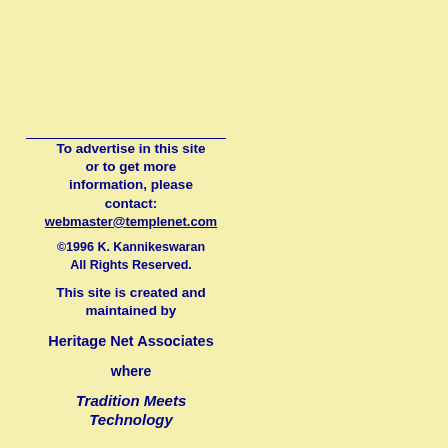To advertise in this site or to get more information, please contact: webmaster@templenet.com
©1996 K. Kannikeswaran All Rights Reserved.
This site is created and maintained by
Heritage Net Associates
where
Tradition Meets Technology